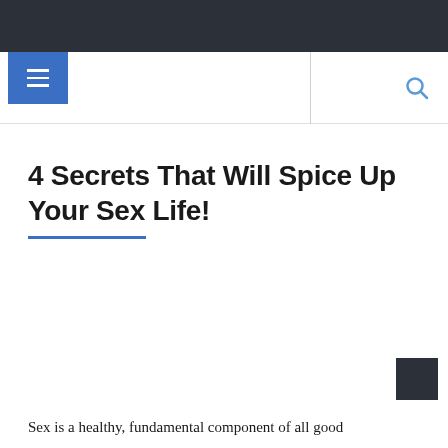[Figure (screenshot): Website navigation bar with dark background]
4 Secrets That Will Spice Up Your Sex Life!
Sex is a healthy, fundamental component of all good